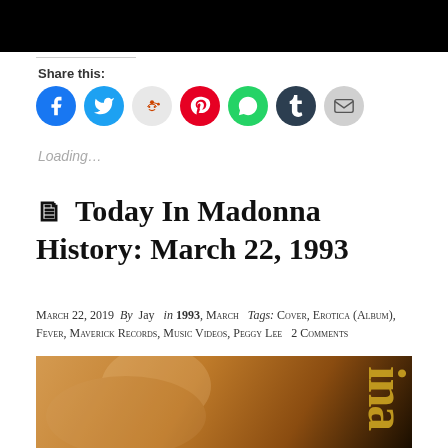[Figure (photo): Black banner/header image at top of page]
Share this:
[Figure (infographic): Row of social share icon buttons: Facebook (blue), Twitter (blue), Reddit (light gray), Pinterest (red), WhatsApp (green), Tumblr (dark navy), Email (gray)]
Loading...
Today In Madonna History: March 22, 1993
March 22, 2019  By  Jay   in 1993, March   Tags: Cover, Erotica (Album), Fever, Maverick Records, Music Videos, Peggy Lee  2 Comments
[Figure (photo): Close-up photo of a blonde woman (Madonna) with warm amber/orange tones, with partial gold text visible on the right side]